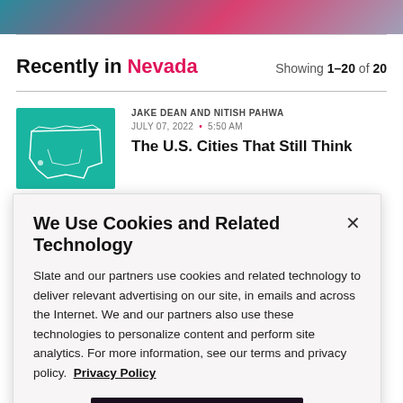[Figure (photo): Partial top image strip showing colorful graphic/photo content]
Recently in Nevada — Showing 1–20 of 20
JAKE DEAN AND NITISH PAHWA
JULY 07, 2022 • 5:50 AM
The U.S. Cities That Still Think
We Use Cookies and Related Technology
Slate and our partners use cookies and related technology to deliver relevant advertising on our site, in emails and across the Internet. We and our partners also use these technologies to personalize content and perform site analytics. For more information, see our terms and privacy policy. Privacy Policy
OK